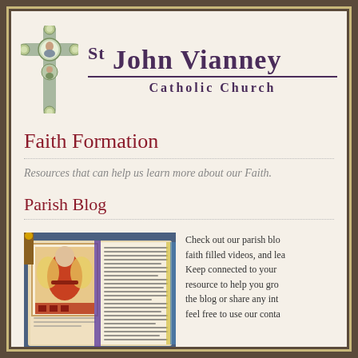St John Vianney Catholic Church
Faith Formation
Resources that can help us learn more about our Faith.
Parish Blog
[Figure (photo): Open illuminated manuscript/bible with decorative illustration on left page and text on right page with purple ribbon bookmark]
Check out our parish blo... faith filled videos, and lea... Keep connected to your... resource to help you gro... the blog or share any int... feel free to use our conta...